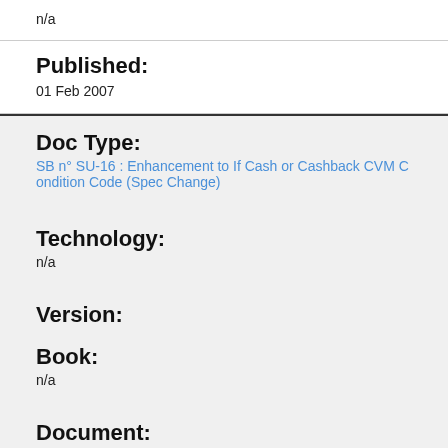n/a
Published:
01 Feb 2007
Doc Type:
SB n° SU-16 : Enhancement to If Cash or Cashback CVM Condition Code (Spec Change)
Technology:
n/a
Version:
Book:
n/a
Document:
n/a
Published: